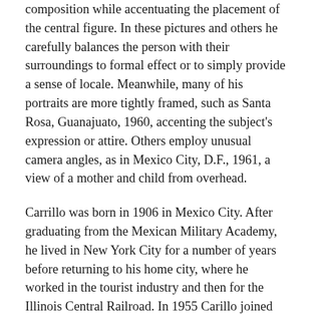composition while accentuating the placement of the central figure. In these pictures and others he carefully balances the person with their surroundings to formal effect or to simply provide a sense of locale. Meanwhile, many of his portraits are more tightly framed, such as Santa Rosa, Guanajuato, 1960, accenting the subject's expression or attire. Others employ unusual camera angles, as in Mexico City, D.F., 1961, a view of a mother and child from overhead.
Carrillo was born in 1906 in Mexico City. After graduating from the Mexican Military Academy, he lived in New York City for a number of years before returning to his home city, where he worked in the tourist industry and then for the Illinois Central Railroad. In 1955 Carillo joined the Club Fotográfico de México—the country's primary amateur and professional photography organization—and learned photographic techniques and darkroom printing processes. Carillo had his first international exhibition in 1960, entitled Mi Pueblo (My People), at the Chicago Public Library. Carrillo died in Mexico City in 1989 at the age of 83. A large number of his prints and negatives are now housed at the Special...